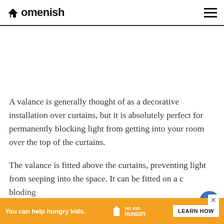Homenish
[Figure (other): White/blank image space above article text (advertisement or image area)]
A valance is generally thought of as a decorative installation over curtains, but it is absolutely perfect for permanently blocking light from getting into your room over the top of the curtains.
The valance is fitted above the curtains, preventing light from seeping into the space. It can be fitted on a c... blocking
[Figure (other): Advertisement banner: 'You can help hungry kids. NO KID HUNGRY LEARN HOW']